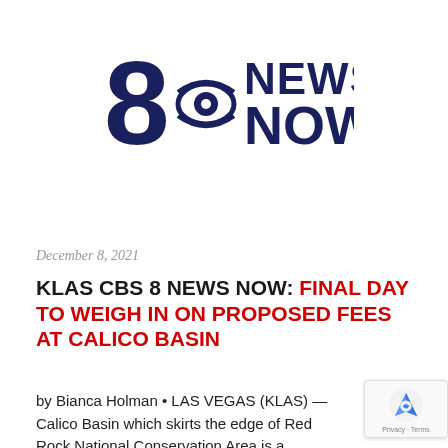[Figure (logo): 8 News Now CBS logo — large stylized '8' with CBS eye, beside 'NEWS NOW' in dark navy bold text]
December 8, 2021
KLAS CBS 8 NEWS NOW: FINAL DAY TO WEIGH IN ON PROPOSED FEES AT CALICO BASIN
by Bianca Holman • LAS VEGAS (KLAS) — Calico Basin which skirts the edge of Red Rock National Conservation Area is a